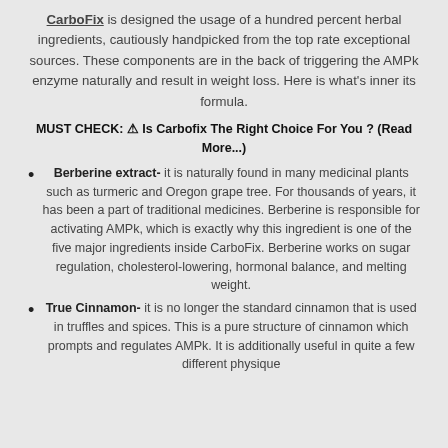CarboFix is designed the usage of a hundred percent herbal ingredients, cautiously handpicked from the top rate exceptional sources. These components are in the back of triggering the AMPk enzyme naturally and result in weight loss. Here is what's inner its formula.
MUST CHECK: ⚠ Is Carbofix The Right Choice For You ? (Read More...)
Berberine extract- it is naturally found in many medicinal plants such as turmeric and Oregon grape tree. For thousands of years, it has been a part of traditional medicines. Berberine is responsible for activating AMPk, which is exactly why this ingredient is one of the five major ingredients inside CarboFix. Berberine works on sugar regulation, cholesterol-lowering, hormonal balance, and melting weight.
True Cinnamon- it is no longer the standard cinnamon that is used in truffles and spices. This is a pure structure of cinnamon which prompts and regulates AMPk. It is additionally useful in quite a few different physique